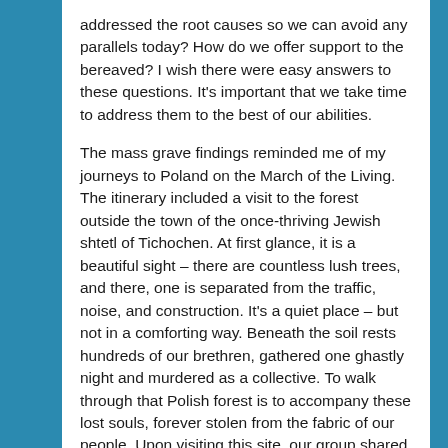addressed the root causes so we can avoid any parallels today? How do we offer support to the bereaved? I wish there were easy answers to these questions. It's important that we take time to address them to the best of our abilities.
The mass grave findings reminded me of my journeys to Poland on the March of the Living. The itinerary included a visit to the forest outside the town of the once-thriving Jewish shtetl of Tichochen. At first glance, it is a beautiful sight – there are countless lush trees, and there, one is separated from the traffic, noise, and construction. It's a quiet place – but not in a comforting way. Beneath the soil rests hundreds of our brethren, gathered one ghastly night and murdered as a collective. To walk through that Polish forest is to accompany these lost souls, forever stolen from the fabric of our people. Upon visiting this site, our group shared words, prayer, and songs, aspiring to provide